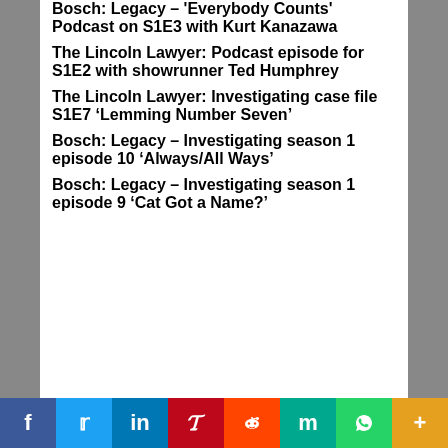Bosch: Legacy – 'Everybody Counts' Podcast on S1E3 with Kurt Kanazawa
The Lincoln Lawyer: Podcast episode for S1E2 with showrunner Ted Humphrey
The Lincoln Lawyer: Investigating case file S1E7 ‘Lemming Number Seven’
Bosch: Legacy – Investigating season 1 episode 10 ‘Always/All Ways’
Bosch: Legacy – Investigating season 1 episode 9 ‘Cat Got a Name?’